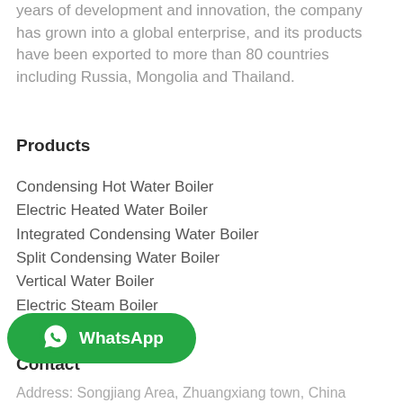years of development and innovation, the company has grown into a global enterprise, and its products have been exported to more than 80 countries including Russia, Mongolia and Thailand.
Products
Condensing Hot Water Boiler
Electric Heated Water Boiler
Integrated Condensing Water Boiler
Split Condensing Water Boiler
Vertical Water Boiler
Electric Steam Boiler
[Figure (other): WhatsApp button overlay with green background and WhatsApp logo]
Contact
Address: Songjiang Area, Zhuangxiang town, China